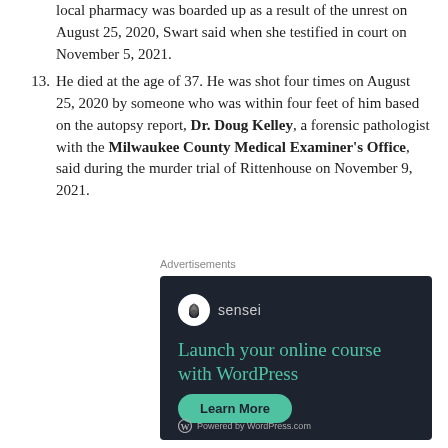local pharmacy was boarded up as a result of the unrest on August 25, 2020, Swart said when she testified in court on November 5, 2021.
13. He died at the age of 37. He was shot four times on August 25, 2020 by someone who was within four feet of him based on the autopsy report, Dr. Doug Kelley, a forensic pathologist with the Milwaukee County Medical Examiner's Office, said during the murder trial of Rittenhouse on November 9, 2021.
Advertisements
[Figure (other): Advertisement for Sensei: 'Launch your online course with WordPress' with a Learn More button and Powered by WordPress.com footer.]